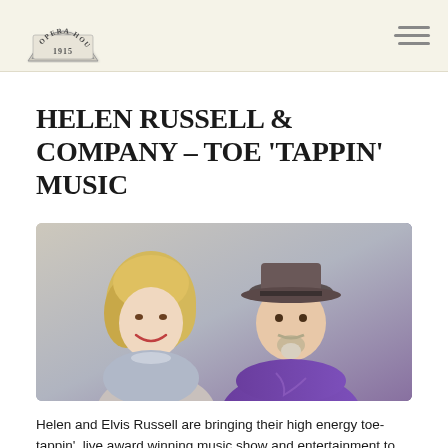Opera House 1915 [logo]
HELEN RUSSELL & COMPANY – TOE 'TAPPIN' MUSIC
[Figure (photo): Helen and Elvis Russell, a woman with curly blonde hair in a sparkly outfit and a man wearing a cowboy hat and purple western shirt, posed together for a promotional photo.]
Helen and Elvis Russell are bringing their high energy toe-tappin', live award winning music show and entertainment to the…